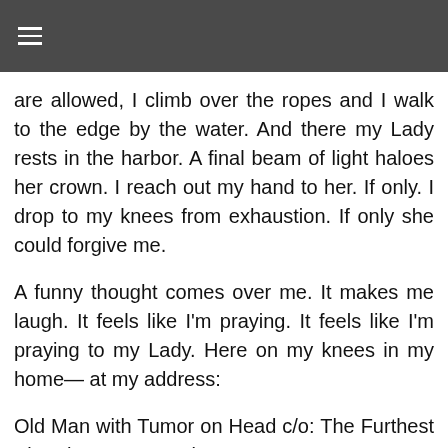≡
are allowed, I climb over the ropes and I walk to the edge by the water. And there my Lady rests in the harbor. A final beam of light haloes her crown. I reach out my hand to her. If only. I drop to my knees from exhaustion. If only she could forgive me.
A funny thought comes over me. It makes me laugh. It feels like I'm praying. It feels like I'm praying to my Lady. Here on my knees in my home— at my address:
Old Man with Tumor on Head c/o: The Furthest Pier The Greatest City, Ever EARTH